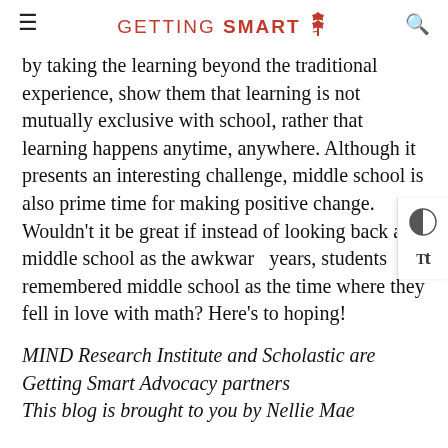GETTING SMART
by taking the learning beyond the traditional experience, show them that learning is not mutually exclusive with school, rather that learning happens anytime, anywhere. Although it presents an interesting challenge, middle school is also prime time for making positive change. Wouldn't it be great if instead of looking back at middle school as the awkward years, students remembered middle school as the time where they fell in love with math? Here's to hoping!
MIND Research Institute and Scholastic are Getting Smart Advocacy partners
This blog is brought to you by Nellie Mae